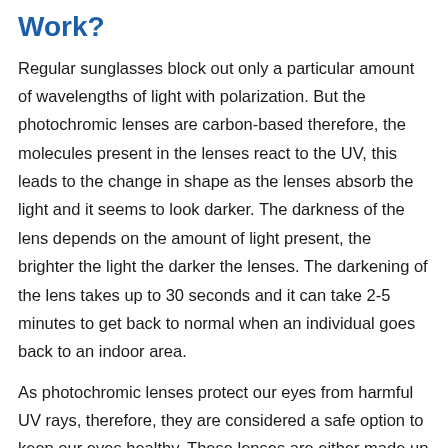Work?
Regular sunglasses block out only a particular amount of wavelengths of light with polarization. But the photochromic lenses are carbon-based therefore, the molecules present in the lenses react to the UV, this leads to the change in shape as the lenses absorb the light and it seems to look darker. The darkness of the lens depends on the amount of light present, the brighter the light the darker the lenses. The darkening of the lens takes up to 30 seconds and it can take 2-5 minutes to get back to normal when an individual goes back to an indoor area.
As photochromic lenses protect our eyes from harmful UV rays, therefore, they are considered a safe option to keep our eyes healthy. These lenses are either made up of plastic, glass, or polycarbonate. Different kind of lens is